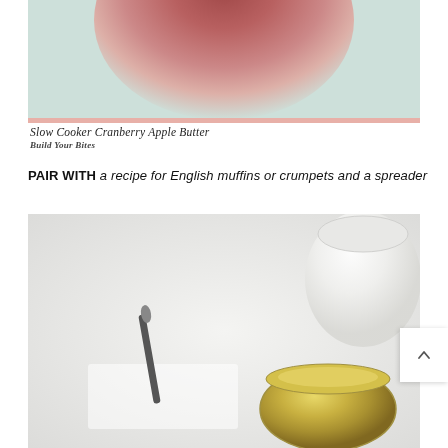[Figure (photo): Close-up photo of a round apple or large round fruit, reddish-brown color, blurred background in light teal/green]
Slow Cooker Cranberry Apple Butter
Build Your Bites
PAIR WITH a recipe for English muffins or crumpets and a spreader
[Figure (photo): Overhead flat-lay photo on white background showing a jar of golden/amber apple butter, a white ceramic vessel, a dark spreader knife, and a folded cloth napkin]